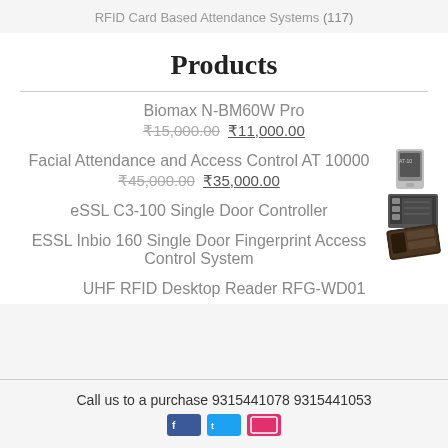RFID Card Based Attendance Systems (117)
Products
Biomax N-BM60W Pro ₹15,000.00 ₹11,000.00
Facial Attendance and Access Control AT 10000 ₹45,000.00 ₹35,000.00
eSSL C3-100 Single Door Controller
ESSL Inbio 160 Single Door Fingerprint Access Control System
UHF RFID Desktop Reader RFG-WD01
Call us to a purchase 9315441078 9315441053